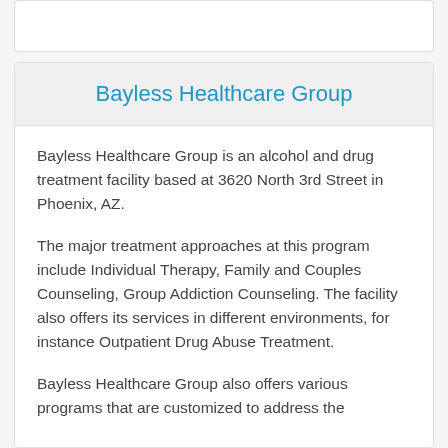Bayless Healthcare Group
Bayless Healthcare Group is an alcohol and drug treatment facility based at 3620 North 3rd Street in Phoenix, AZ.
The major treatment approaches at this program include Individual Therapy, Family and Couples Counseling, Group Addiction Counseling. The facility also offers its services in different environments, for instance Outpatient Drug Abuse Treatment.
Bayless Healthcare Group also offers various programs that are customized to address the